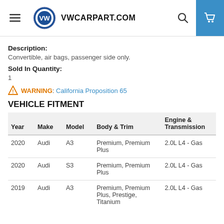VWCARPART.COM
Description:
Convertible, air bags, passenger side only.
Sold In Quantity:
1
WARNING: California Proposition 65
VEHICLE FITMENT
| Year | Make | Model | Body & Trim | Engine & Transmission |
| --- | --- | --- | --- | --- |
| 2020 | Audi | A3 | Premium, Premium Plus | 2.0L L4 - Gas |
| 2020 | Audi | S3 | Premium, Premium Plus | 2.0L L4 - Gas |
| 2019 | Audi | A3 | Premium, Premium Plus, Prestige, Titanium | 2.0L L4 - Gas |